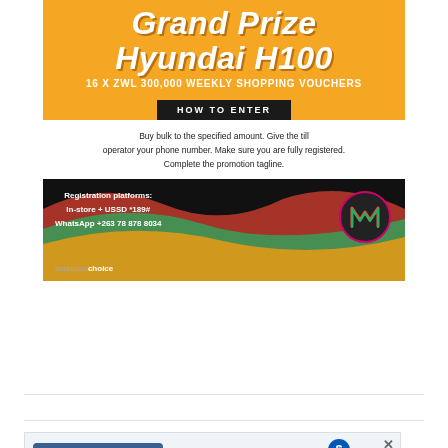Grand Prize Hyundai H100
16 X ZWL 300,000 WEEKLY SHOPPING VOUCHERS
HOW TO ENTER
Buy bulk to the specified amount. Give the till operator your phone number. Make sure you are fully registered. Complete the promotion tagline.
Registration platforms:
In-store + USSD *189#
WhatsApp +263 78 878 8034
shopperschoice
[Figure (advertisement): BidBuddie advertisement showing a smartphone app interface with the BidBuddie logo]